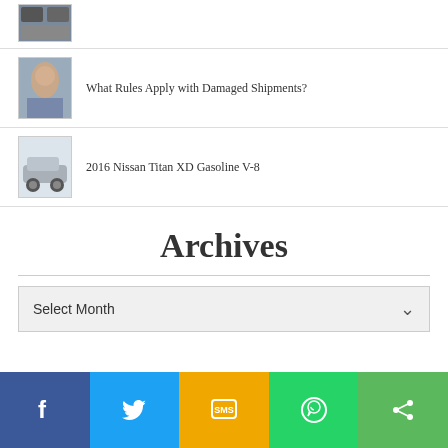(image thumbnail)
What Rules Apply with Damaged Shipments?
2016 Nissan Titan XD Gasoline V-8
Archives
Select Month